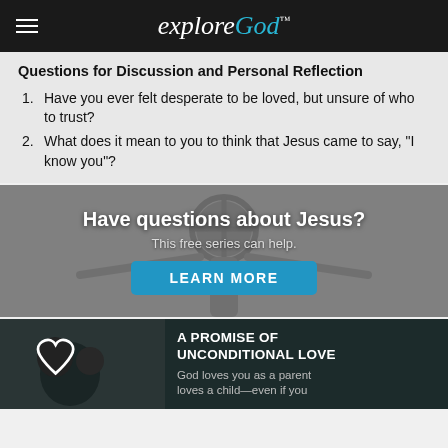explore God
Questions for Discussion and Personal Reflection
Have you ever felt desperate to be loved, but unsure of who to trust?
What does it mean to you to think that Jesus came to say, "I know you"?
[Figure (illustration): Banner with a grayscale statue of Jesus with outstretched arms and a cross halo. Text reads 'Have questions about Jesus? This free series can help.' with a teal LEARN MORE button.]
[Figure (photo): Dark background banner showing a parent kissing a baby. Text reads 'A PROMISE OF UNCONDITIONAL LOVE - God loves you as a parent loves a child—even if you']